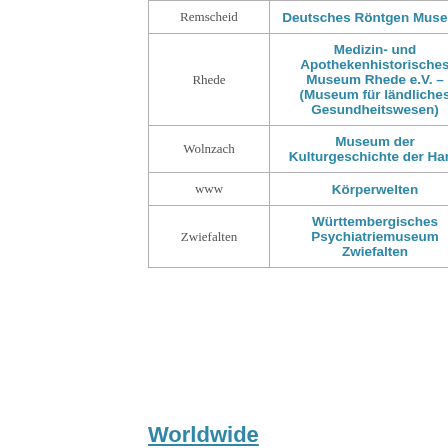| Stadt | Museum |
| --- | --- |
| Remscheid | Deutsches Röntgen Museum |
| Rhede | Medizin- und Apothekenhistorisches Museum Rhede e.V. – (Museum für ländliches Gesundheitswesen) |
| Wolnzach | Museum der Kulturgeschichte der Hand |
| www | Körperwelten |
| Zwiefalten | Württembergisches Psychiatriemuseum Zwiefalten |
Worldwide